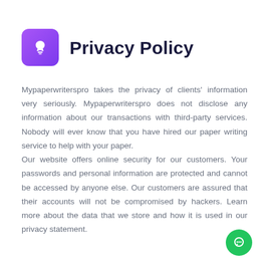Privacy Policy
Mypaperwriterspro takes the privacy of clients' information very seriously. Mypaperwriterspro does not disclose any information about our transactions with third-party services. Nobody will ever know that you have hired our paper writing service to help with your paper.
Our website offers online security for our customers. Your passwords and personal information are protected and cannot be accessed by anyone else. Our customers are assured that their accounts will not be compromised by hackers. Learn more about the data that we store and how it is used in our privacy statement.